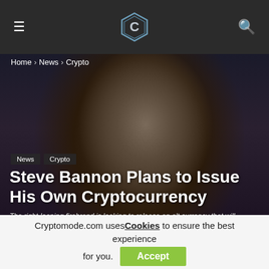Home › News › Crypto
[Figure (photo): Close-up portrait photo of Steve Bannon against a dark background, used as hero image for article]
News  Crypto
Steve Bannon Plans to Issue His Own Cryptocurrency
The right-leaning firebrand is looking to release an alt currency that will hopefully introduce more transparency within existing financial structures across the globe!!
Cryptomode.com uses Cookies to ensure the best experience for you.  Accept